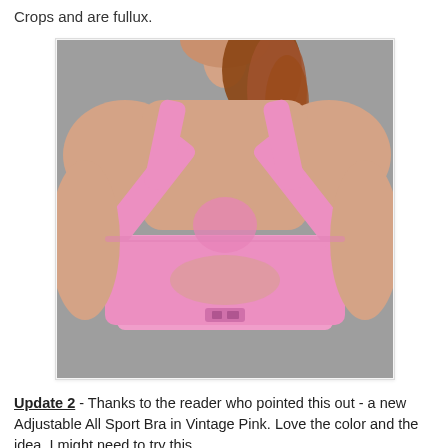Crops and are fullux.
[Figure (photo): Back view of a woman wearing a pink Adjustable All Sport Bra with cross-back straps and an adjustable clasp at the lower back, against a grey background.]
Update 2 - Thanks to the reader who pointed this out - a new Adjustable All Sport Bra in Vintage Pink. Love the color and the idea. I might need to try this.